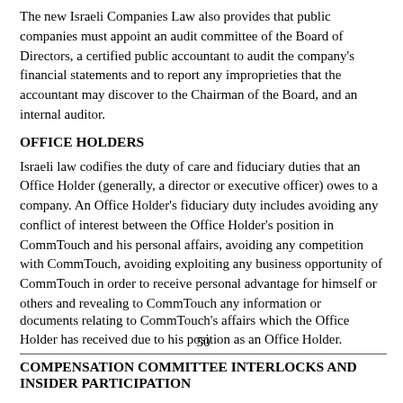The new Israeli Companies Law also provides that public companies must appoint an audit committee of the Board of Directors, a certified public accountant to audit the company's financial statements and to report any improprieties that the accountant may discover to the Chairman of the Board, and an internal auditor.
OFFICE HOLDERS
Israeli law codifies the duty of care and fiduciary duties that an Office Holder (generally, a director or executive officer) owes to a company. An Office Holder's fiduciary duty includes avoiding any conflict of interest between the Office Holder's position in CommTouch and his personal affairs, avoiding any competition with CommTouch, avoiding exploiting any business opportunity of CommTouch in order to receive personal advantage for himself or others and revealing to CommTouch any information or
50
documents relating to CommTouch's affairs which the Office Holder has received due to his position as an Office Holder.
COMPENSATION COMMITTEE INTERLOCKS AND INSIDER PARTICIPATION